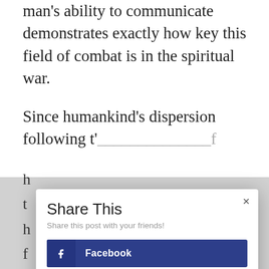man's ability to communicate demonstrates exactly how key this field of combat is in the spiritual war.
Since humankind's dispersion following t'...
[Figure (screenshot): A 'Share This' modal dialog overlaying the article text, containing share buttons for Facebook, Twitter, Pinterest, and Tumblr, with a close (×) button in the top right.]